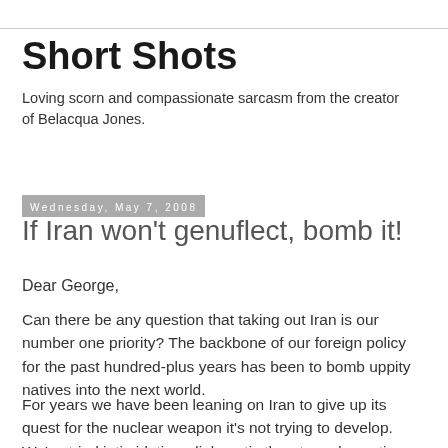Short Shots
Loving scorn and compassionate sarcasm from the creator of Belacqua Jones.
Wednesday, May 7, 2008
If Iran won't genuflect, bomb it!
Dear George,
Can there be any question that taking out Iran is our number one priority? The backbone of our foreign policy for the past hundred-plus years has been to bomb uppity natives into the next world.
For years we have been leaning on Iran to give up its quest for the nuclear weapon it’s not trying to develop. We've tried intimidation, diplomatic threats and sanctions. We've used that reliable nineteenth-century technique of cutting them off